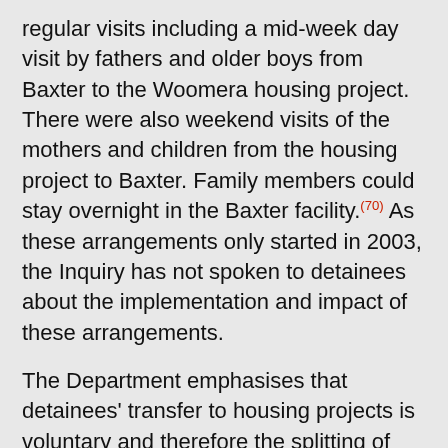regular visits including a mid-week day visit by fathers and older boys from Baxter to the Woomera housing project. There were also weekend visits of the mothers and children from the housing project to Baxter. Family members could stay overnight in the Baxter facility.(70) As these arrangements only started in 2003, the Inquiry has not spoken to detainees about the implementation and impact of these arrangements.
The Department emphasises that detainees' transfer to housing projects is voluntary and therefore the splitting of the family is a choice that parents can make for themselves. However, it is of concern to the Inquiry that parents are forced into the position of choosing between the family being together and allowing their children to live in a more hospitable environment than a secure detention centre. This so-called choice is contrary to the spirit of the CRC which provides both that the detention be a matter of last resort